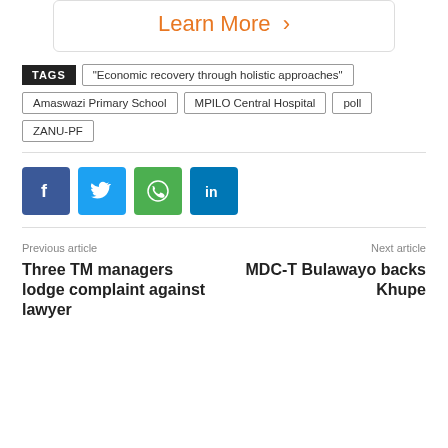[Figure (other): Learn More button with orange text and right arrow chevron inside a rounded border box]
TAGS
"Economic recovery through holistic approaches"
Amaswazi Primary School
MPILO Central Hospital
poll
ZANU-PF
[Figure (infographic): Social media share buttons: Facebook (blue), Twitter (light blue), WhatsApp (green), LinkedIn (dark blue)]
Previous article
Three TM managers lodge complaint against lawyer
Next article
MDC-T Bulawayo backs Khupe